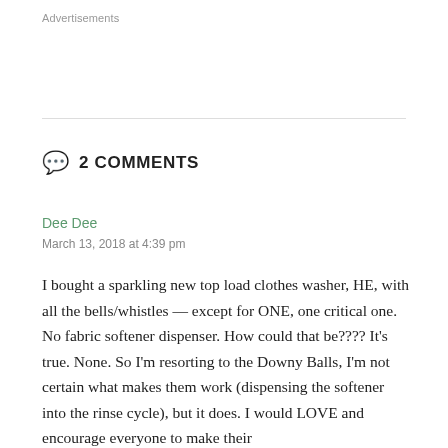Advertisements
2 COMMENTS
Dee Dee
March 13, 2018 at 4:39 pm
I bought a sparkling new top load clothes washer, HE, with all the bells/whistles — except for ONE, one critical one. No fabric softener dispenser. How could that be???? It's true. None. So I'm resorting to the Downy Balls, I'm not certain what makes them work (dispensing the softener into the rinse cycle), but it does. I would LOVE and encourage everyone to make their